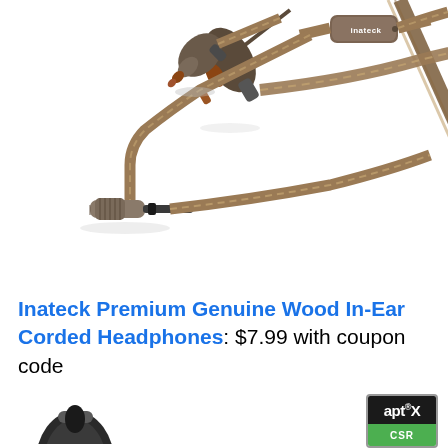[Figure (photo): Product photo of Inateck in-ear headphones showing the 3.5mm audio jack plug, braided cable, inline remote/mic control with Inateck branding, and earphone housing with wooden tip, all in a bronze/champagne color scheme on white background]
Inateck Premium Genuine Wood In-Ear Corded Headphones: $7.99 with coupon code K8RSDB5I
[Figure (photo): Partial view of a dark-colored Bluetooth earphone/earbud at bottom left]
[Figure (logo): aptX CSR certification badge/logo — black rectangle with aptX and registered trademark symbol in white text on dark background, CSR text on green background below]